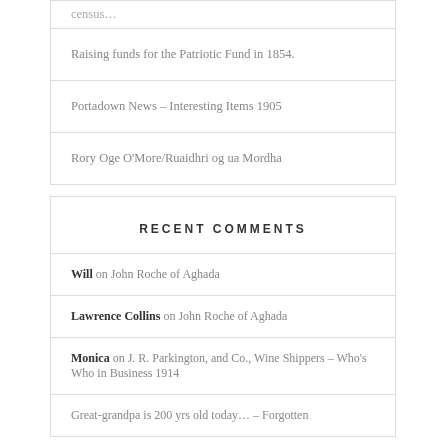census …
Raising funds for the Patriotic Fund in 1854.
Portadown News – Interesting Items 1905
Rory Oge O'More/Ruaidhri og ua Mordha
RECENT COMMENTS
Will on John Roche of Aghada
Lawrence Collins on John Roche of Aghada
Monica on J. R. Parkington, and Co., Wine Shippers – Who's Who in Business 1914
Great-grandpa is 200 yrs old today... – Forgotten